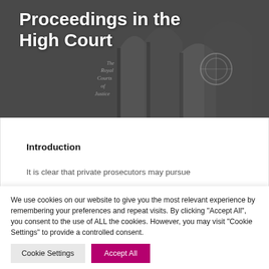[Figure (photo): Dark greyscale photo of gothic architecture, likely the Royal Courts of Justice building, with arched windows and ornate stonework.]
Proceedings in the High Court
Introduction
It is clear that private prosecutors may pursue
We use cookies on our website to give you the most relevant experience by remembering your preferences and repeat visits. By clicking "Accept All", you consent to the use of ALL the cookies. However, you may visit "Cookie Settings" to provide a controlled consent.